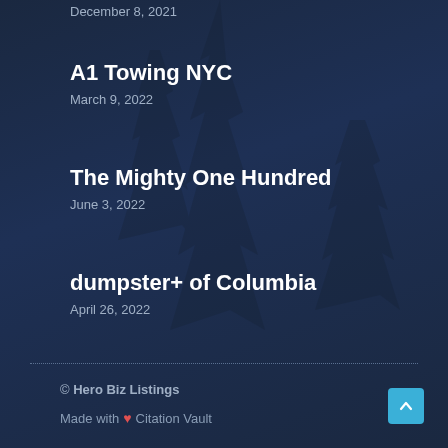December 8, 2021
A1 Towing NYC
March 9, 2022
The Mighty One Hundred
June 3, 2022
dumpster+ of Columbia
April 26, 2022
© Hero Biz Listings
Made with ❤ Citation Vault